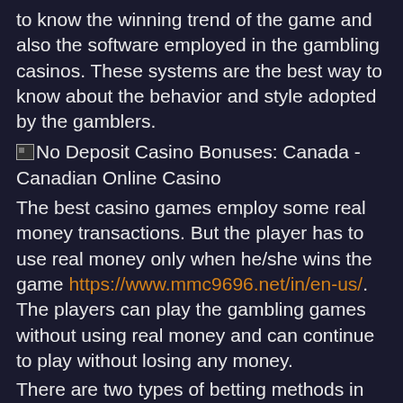to know the winning trend of the game and also the software employed in the gambling casinos. These systems are the best way to know about the behavior and style adopted by the gamblers.
[Figure (other): Broken image placeholder labeled 'No Deposit Casino Bonuses: Canada - Canadian Online Casino']
The best casino games employ some real money transactions. But the player has to use real money only when he/she wins the game https://www.mmc9696.net/in/en-us/. The players can play the gambling games without using real money and can continue to play without losing any money.
There are two types of betting methods in the gambling games: Betting exchange and Betfair. In the Betfair method the player has to exchange his bet with other players through a system of cash deposit. In the Betfair method there is no compulsion that the player must maintain the